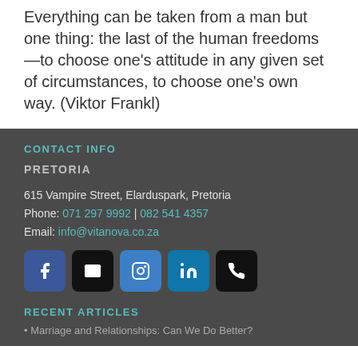Everything can be taken from a man but one thing: the last of the human freedoms—to choose one's attitude in any given set of circumstances, to choose one's own way. (Viktor Frankl)
CONTACT INFO
PRETORIA
615 Vampire Street, Elarduspark, Pretoria
Phone: 071 297 9992 | 082 541 4357
Email: info@vitanova.co.za
[Figure (other): Row of five social media icon buttons: Facebook (blue), Email (black), Instagram (blue), LinkedIn (blue), Phone (black)]
RECENT ARTICLES
• Marriage and Relationships: Can We Do Better?